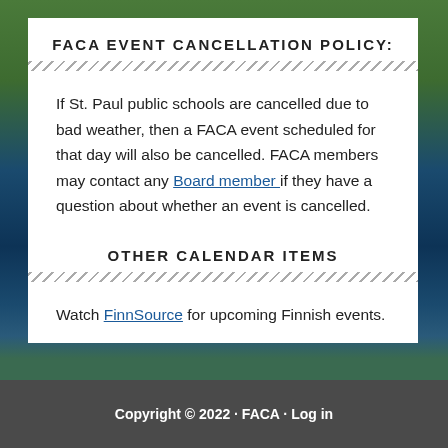FACA EVENT CANCELLATION POLICY:
If St. Paul public schools are cancelled due to bad weather, then a FACA event scheduled for that day will also be cancelled. FACA members may contact any Board member if they have a question about whether an event is cancelled.
OTHER CALENDAR ITEMS
Watch FinnSource for upcoming Finnish events.
Copyright © 2022 · FACA · Log in